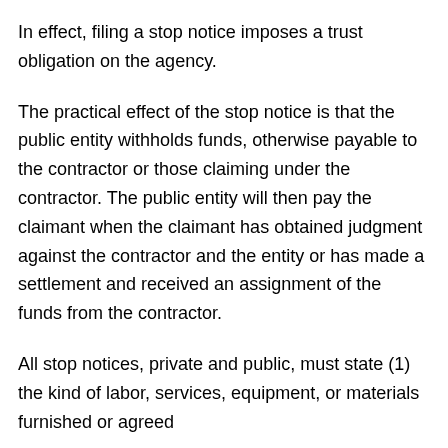In effect, filing a stop notice imposes a trust obligation on the agency.
The practical effect of the stop notice is that the public entity withholds funds, otherwise payable to the contractor or those claiming under the contractor. The public entity will then pay the claimant when the claimant has obtained judgment against the contractor and the entity or has made a settlement and received an assignment of the funds from the contractor.
All stop notices, private and public, must state (1) the kind of labor, services, equipment, or materials furnished or agreed